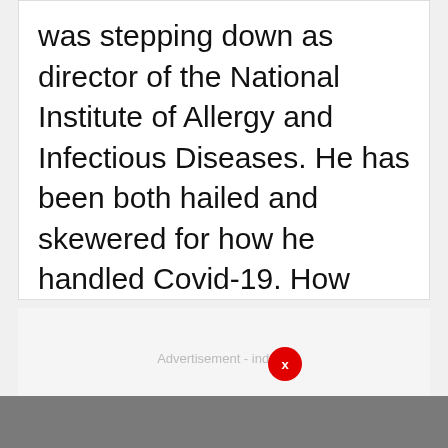was stepping down as director of the National Institute of Allergy and Infectious Diseases. He has been both hailed and skewered for how he handled Covid-19. How would you grade his performance?
[Figure (other): Advertisement placeholder area with 'Advertisement - indaug' label and a red X close button]